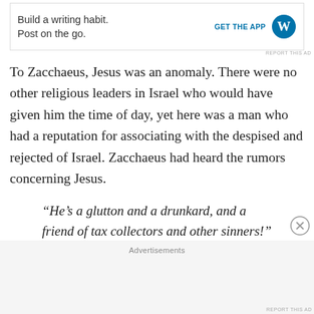[Figure (other): WordPress advertisement banner: 'Build a writing habit. Post on the go.' with GET THE APP button and WordPress logo]
To Zacchaeus, Jesus was an anomaly. There were no other religious leaders in Israel who would have given him the time of day, yet here was a man who had a reputation for associating with the despised and rejected of Israel. Zacchaeus had heard the rumors concerning Jesus.
“He’s a glutton and a drunkard, and a friend of tax collectors and other sinners!” – Luke 7:34 NLT
And this made Jesus all the more intriguing to a man like
Advertisements